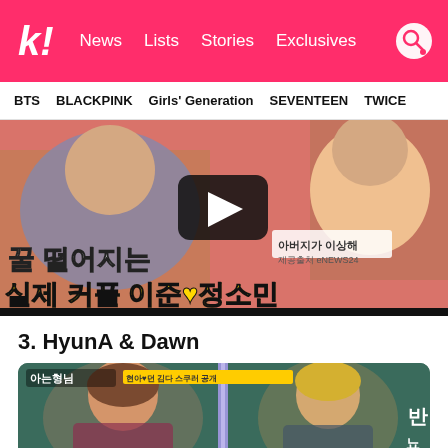k! News Lists Stories Exclusives
BTS BLACKPINK Girls' Generation SEVENTEEN TWICE
[Figure (screenshot): YouTube video thumbnail showing two people with Korean text overlay reading: 꿀 떨어지는 실제 커플 이준♥정소민, eNEWS24 watermark visible]
3. HyunA & Dawn
[Figure (screenshot): TV show screenshot showing HyunA and Dawn on a show, with Korean program title 아는형님 and text overlay visible at top]